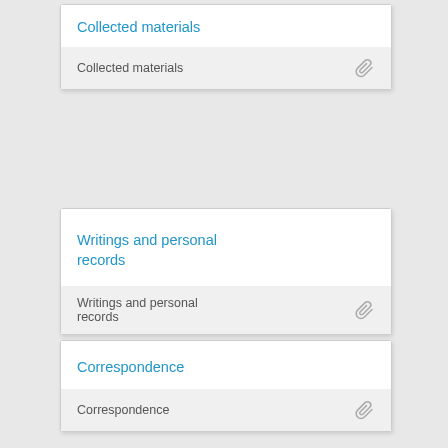Collected materials
Collected materials
Writings and personal records
Writings and personal records
Correspondence
Correspondence
The Pocket Desert Broadcast Files
The Pocket Desert Broadcast